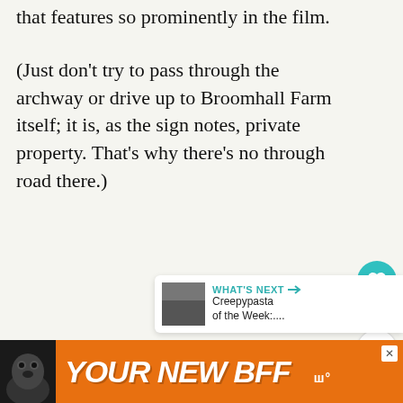that features so prominently in the film.
(Just don't try to pass through the archway or drive up to Broomhall Farm itself; it is, as the sign notes, private property. That's why there's no through road there.)
[Figure (infographic): Heart/like button (teal circle with heart icon) and share button with count of 18]
[Figure (infographic): What's Next panel with thumbnail and text: Creepypasta of the Week:....]
[Figure (infographic): Orange advertisement banner with dog image and text YOUR NEW BFF with close button and logo]